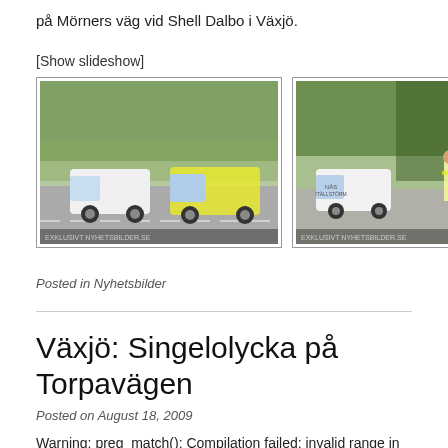på Mörners väg vid Shell Dalbo i Växjö.
[Show slideshow]
[Figure (photo): Two photos side by side: left photo shows white van and ambulance on a street with trees; right photo shows a white van and two people in reflective vests near trees.]
Posted in Nyhetsbilder
Växjö: Singelolycka på Torpavägen
Posted on August 18, 2009
Warning: preg_match(): Compilation failed: invalid range in character class at offset 63 in